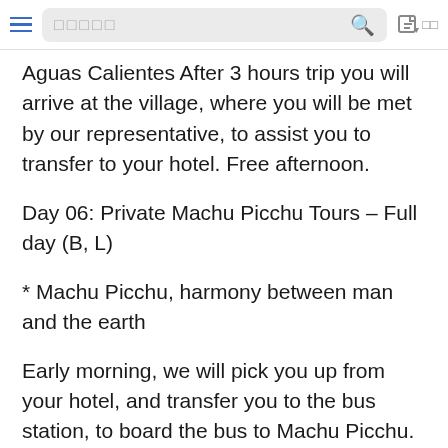☰  □□□□□  🔍  ✎ □□
Aguas Calientes After 3 hours trip you will arrive at the village, where you will be met by our representative, to assist you to transfer to your hotel. Free afternoon.
Day 06: Private Machu Picchu Tours – Full day (B, L)
* Machu Picchu, harmony between man and the earth
Early morning, we will pick you up from your hotel, and transfer you to the bus station, to board the bus to Machu Picchu. After 30 minutes trip, you will arrive at the entrance to Machu Picchu declared a Natural and Cultural Heritage to Humanity, the best example of Incan architecture. Built-in the middle of a tropical mountain forest, the city appears to have been